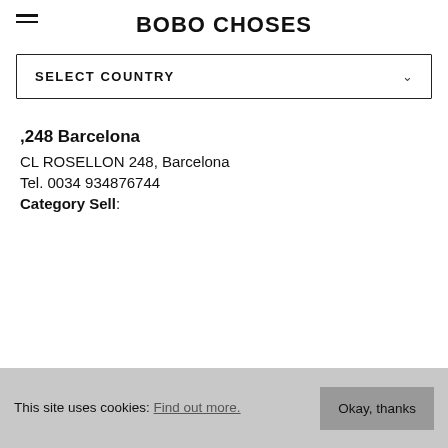BOBO CHOSES
SELECT COUNTRY
,248 Barcelona
CL ROSELLON 248, Barcelona
Tel. 0034 934876744
Category Sell:
This site uses cookies: Find out more. Okay, thanks